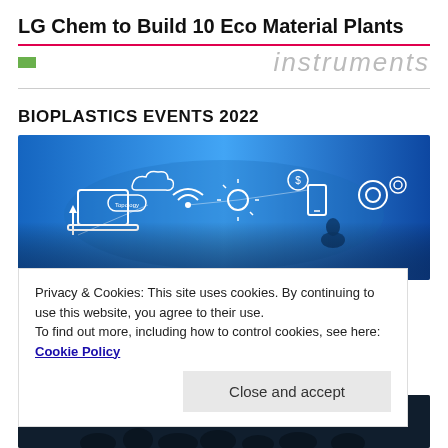LG Chem to Build 10 Eco Material Plants
[Figure (logo): Website header logo bar with green rectangle and 'instruments' text in grey italic]
[Figure (photo): Blue-toned digital technology banner image with icons representing technology, connectivity, data, and a silhouette figure]
BIOPLASTICS EVENTS 2022
Privacy & Cookies: This site uses cookies. By continuing to use this website, you agree to their use.
To find out more, including how to control cookies, see here: Cookie Policy
Close and accept